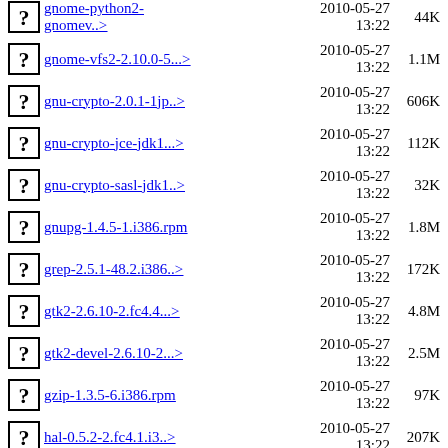gnome-python2-gnomev..> 2010-05-27 13:22 44K
gnome-vfs2-2.10.0-5...> 2010-05-27 13:22 1.1M
gnu-crypto-2.0.1-1jp..> 2010-05-27 13:22 606K
gnu-crypto-jce-jdk1...> 2010-05-27 13:22 112K
gnu-crypto-sasl-jdk1..> 2010-05-27 13:22 32K
gnupg-1.4.5-1.i386.rpm 2010-05-27 13:22 1.8M
grep-2.5.1-48.2.i386..> 2010-05-27 13:22 172K
gtk2-2.6.10-2.fc4.4...> 2010-05-27 13:22 4.8M
gtk2-devel-2.6.10-2...> 2010-05-27 13:22 2.5M
gzip-1.3.5-6.i386.rpm 2010-05-27 13:22 97K
hal-0.5.2-2.fc4.1.i3..> 2010-05-27 13:22 207K
hal-devel-0.5.2-2.fc..> 2010-05-27 13:22 137K